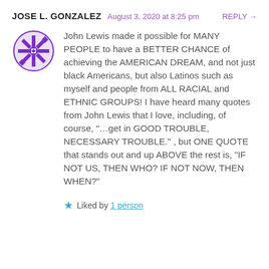JOSE L. GONZALEZ   August 3, 2020 at 8:25 pm   REPLY →
[Figure (illustration): Purple geometric snowflake-style avatar icon for user Jose L. Gonzalez]
John Lewis made it possible for MANY PEOPLE to have a BETTER CHANCE of achieving the AMERICAN DREAM, and not just black Americans, but also Latinos such as myself and people from ALL RACIAL and ETHNIC GROUPS! I have heard many quotes from John Lewis that I love, including, of course, "…get in GOOD TROUBLE, NECESSARY TROUBLE." , but ONE QUOTE that stands out and up ABOVE the rest is, "IF NOT US, THEN WHO? IF NOT NOW, THEN WHEN?"
★ Liked by 1 person